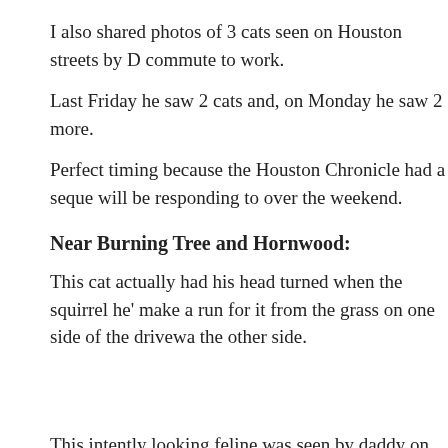I also shared photos of 3 cats seen on Houston streets by D commute to work.
Last Friday he saw 2 cats and, on Monday he saw 2 more.
Perfect timing because the Houston Chronicle had a seque will be responding to over the weekend.
Near Burning Tree and Hornwood:
This cat actually had his head turned when the squirrel he' make a run for it from the grass on one side of the drivewa the other side.
This intently looking feline was seen by daddy on Burning